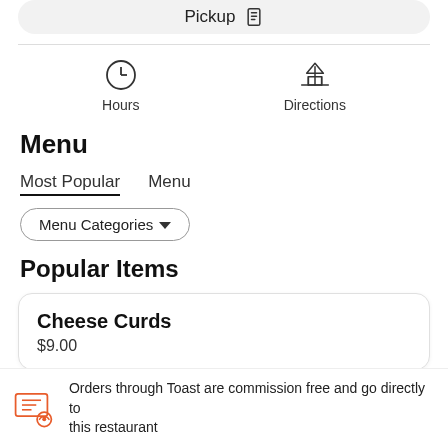Pickup
Hours
Directions
Menu
Most Popular   Menu
Menu Categories ▼
Popular Items
Cheese Curds
$9.00
Orders through Toast are commission free and go directly to this restaurant